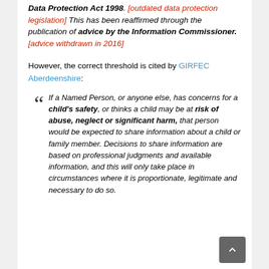Data Protection Act 1998. [outdated data protection legislation] This has been reaffirmed through the publication of advice by the Information Commissioner. [advice withdrawn in 2016]
However, the correct threshold is cited by GIRFEC Aberdeenshire:
"If a Named Person, or anyone else, has concerns for a child's safety, or thinks a child may be at risk of abuse, neglect or significant harm, that person would be expected to share information about a child or family member. Decisions to share information are based on professional judgments and available information, and this will only take place in circumstances where it is proportionate, legitimate and necessary to do so.